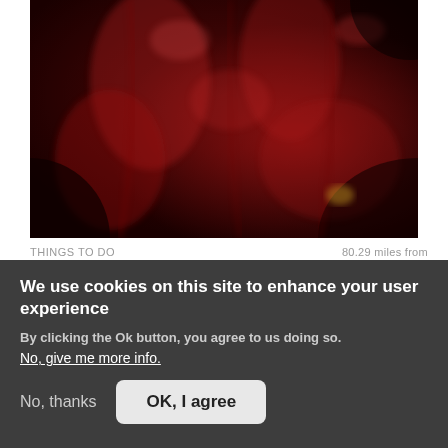[Figure (photo): Dark reddish photo of draped or costumed figures in red fabric, blurred and dramatic]
THINGS TO DO   80.29 miles from
How Stean Gorge
REGION
We use cookies on this site to enhance your user experience
By clicking the Ok button, you agree to us doing so.
No, give me more info.
No, thanks   OK, I agree